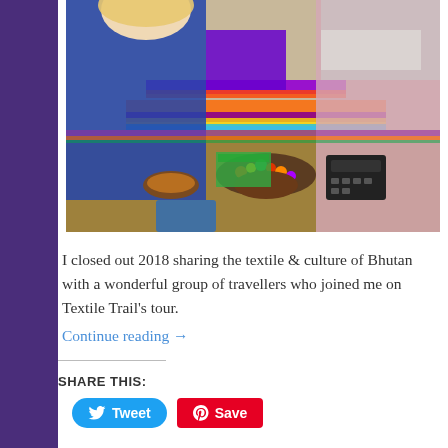[Figure (photo): Two people examining colorful textiles and beaded jewelry at a market stall or shop. One person wears a blue puffer jacket, the other a floral blouse with a grey scarf. Bright woven fabrics, necklaces, and a calculator are visible on a wooden display table.]
I closed out 2018 sharing the textile & culture of Bhutan with a wonderful group of travellers who joined me on Textile Trail's tour.
Continue reading →
SHARE THIS: